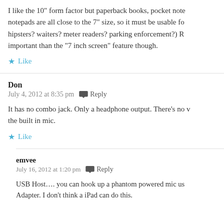I like the 10" form factor but paperback books, pocket notepads are all close to the 7" size, so it must be usable for (hipsters? waiters? meter readers? parking enforcement?) R important than the "7 inch screen" feature though.
★ Like
Don
July 4, 2012 at 8:35 pm  Reply
It has no combo jack. Only a headphone output. There's no w the built in mic.
★ Like
emvee
July 16, 2012 at 1:20 pm  Reply
USB Host.... you can hook up a phantom powered mic us Adapter. I don't think a iPad can do this.